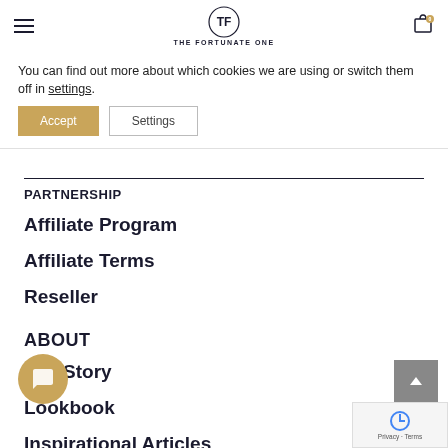THE FORTUNATE ONE
You can find out more about which cookies we are using or switch them off in settings.
Accept | Settings
PARTNERSHIP
Affiliate Program
Affiliate Terms
Reseller
ABOUT
Our Story
Lookbook
Inspirational Articles